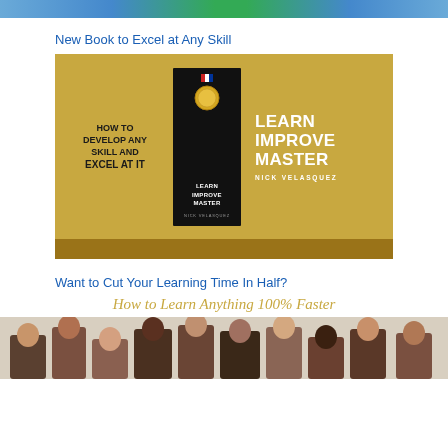[Figure (photo): Top banner strip with blue and green gradient colors]
New Book to Excel at Any Skill
[Figure (illustration): Book advertisement banner with gold background. Left side shows 'HOW TO DEVELOP ANY SKILL AND EXCEL AT IT' text. Center shows book cover for 'Learn Improve Master' by Nick Velasquez with a medal. Right side shows large white text 'LEARN IMPROVE MASTER NICK VELASQUEZ'.]
Want to Cut Your Learning Time In Half?
[Figure (illustration): Advertisement image showing 'How to Learn Anything 100% Faster' title in gold italic text above a group of people with raised arms celebrating.]